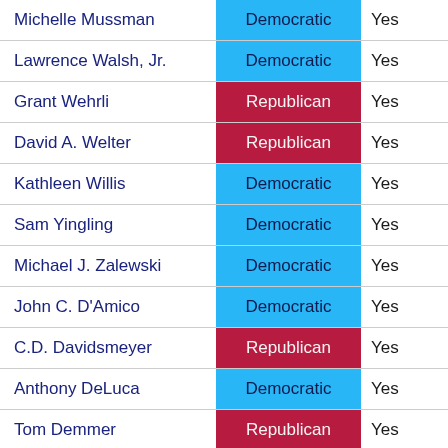| Name | Party | Vote |
| --- | --- | --- |
| Michelle Mussman | Democratic | Yes |
| Lawrence Walsh, Jr. | Democratic | Yes |
| Grant Wehrli | Republican | Yes |
| David A. Welter | Republican | Yes |
| Kathleen Willis | Democratic | Yes |
| Sam Yingling | Democratic | Yes |
| Michael J. Zalewski | Democratic | Yes |
| John C. D'Amico | Democratic | Yes |
| C.D. Davidsmeyer | Republican | Yes |
| Anthony DeLuca | Democratic | Yes |
| Tom Demmer | Republican | Yes |